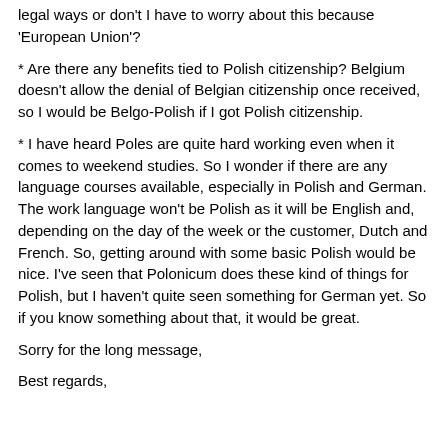legal ways or don't I have to worry about this because 'European Union'?
* Are there any benefits tied to Polish citizenship? Belgium doesn't allow the denial of Belgian citizenship once received, so I would be Belgo-Polish if I got Polish citizenship.
* I have heard Poles are quite hard working even when it comes to weekend studies. So I wonder if there are any language courses available, especially in Polish and German. The work language won't be Polish as it will be English and, depending on the day of the week or the customer, Dutch and French. So, getting around with some basic Polish would be nice. I've seen that Polonicum does these kind of things for Polish, but I haven't quite seen something for German yet. So if you know something about that, it would be great.
Sorry for the long message,
Best regards,